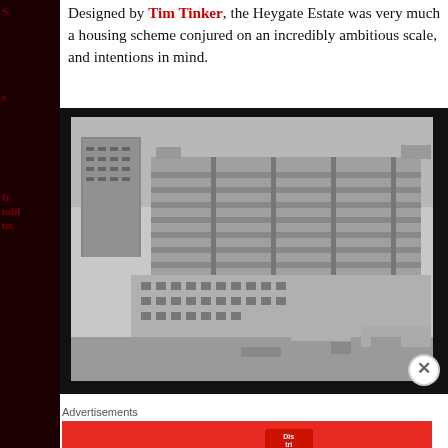Designed by Tim Tinker, the Heygate Estate was very much a housing scheme conjured on an incredibly ambitious scale, and intentions in mind.
[Figure (photo): Black and white photograph of the Heygate Estate, a large brutalist housing complex under construction, showing multiple large multi-storey residential blocks with horizontal banding, and construction activity in the foreground.]
Advertisements
[Figure (other): Advertisement banner for Pocket Casts app with red background. Text reads: An app by listeners, for listeners. Shows a smartphone with 'Distributed' book cover and the Pocket Casts logo.]